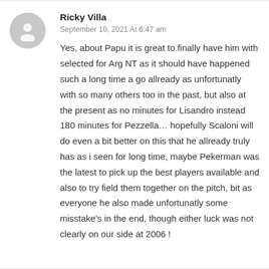[Figure (illustration): Grey circular avatar placeholder with a person silhouette icon]
Ricky Villa
September 10, 2021 At 6:47 am
Yes, about Papu it is great to finally have him with selected for Arg NT as it should have happened such a long time a go allready as unfortunatly with so many others too in the past, but also at the present as no minutes for Lisandro instead 180 minutes for Pezzella… hopefully Scaloni will do even a bit better on this that he allready truly has as i seen for long time, maybe Pekerman was the latest to pick up the best players available and also to try field them together on the pitch, bit as everyone he also made unfortunatly some misstake's in the end, though either luck was not clearly on our side at 2006 !